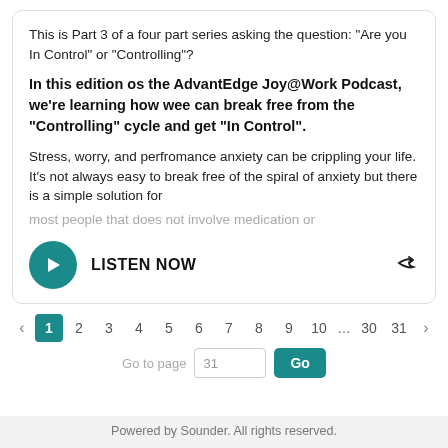This is Part 3 of a four part series asking the question: "Are you In Control" or "Controlling"?
In this edition os the AdvantEdge Joy@Work Podcast, we're learning how wee can break free from the "Controlling" cycle and get "In Control".
Stress, worry, and perfromance anxiety can be crippling your life. It's not always easy to break free of the spiral of anxiety but there is a simple solution for most people that does not involve medication or
LISTEN NOW
‹ 1 2 3 4 5 6 7 8 9 10 … 30 31 ›
Go to page  31  Go
Powered by Sounder. All rights reserved.